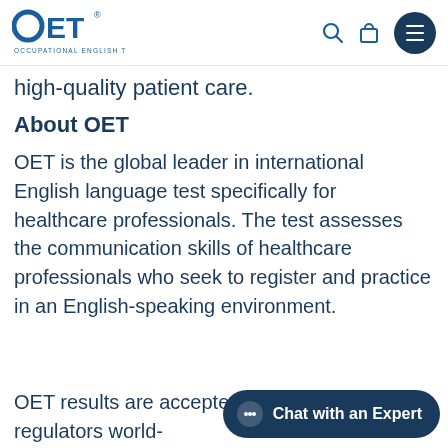OET - Occupational English Test
high-quality patient care.
About OET
OET is the global leader in international English language test specifically for healthcare professionals. The test assesses the communication skills of healthcare professionals who seek to register and practice in an English-speaking environment.
OET results are accepted by healthcare regulators world-wide, including in the USA